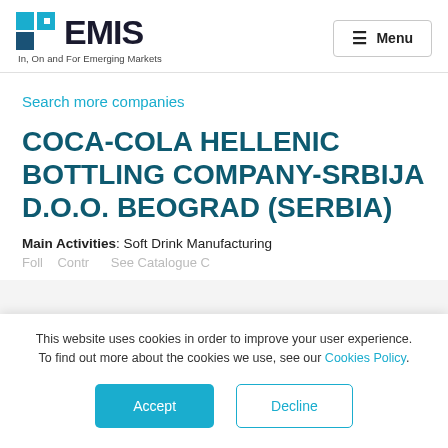EMIS — In, On and For Emerging Markets | Menu
Search more companies
COCA-COLA HELLENIC BOTTLING COMPANY-SRBIJA D.O.O. BEOGRAD (SERBIA)
Main Activities: Soft Drink Manufacturing
This website uses cookies in order to improve your user experience. To find out more about the cookies we use, see our Cookies Policy.
Accept | Decline